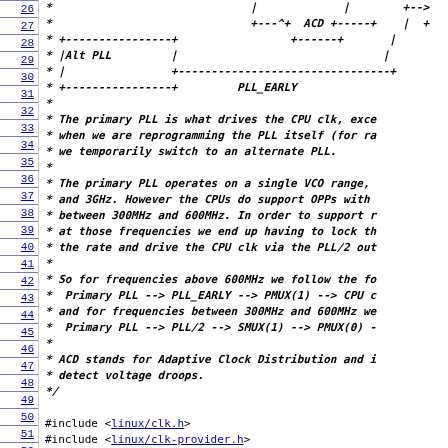Source code listing lines 26-55 showing PLL clock driver comments and includes
26: *                                          |             |            +--->
27: *                                          +---^+  ACD +-----+          |  +
28: * +----------------+                              +------+           |
29: * |Alt PLL         |                                                 |
30: * |                +---------------------------------------------------+
31: * +----------------+              PLL_EARLY
32: *
33: * The primary PLL is what drives the CPU clk, exce
34: * when we are reprogramming the PLL itself (for ra
35: * we temporarily switch to an alternate PLL.
36: *
37: * The primary PLL operates on a single VCO range,
38: * and 3GHz. However the CPUs do support OPPs with
39: * between 300MHz and 600MHz. In order to support r
40: * at those frequencies we end up having to lock th
41: * the rate and drive the CPU clk via the PLL/2 out
42: *
43: * So for frequencies above 600MHz we follow the fo
44: *  Primary PLL --> PLL_EARLY --> PMUX(1) --> CPU c
45: * and for frequencies between 300MHz and 600MHz we
46: *  Primary PLL --> PLL/2 --> SMUX(1) --> PMUX(0) -
47: *
48: * ACD stands for Adaptive Clock Distribution and i
49: * detect voltage droops.
50: */
51:
52: #include <linux/clk.h>
53: #include <linux/clk-provider.h>
54: #include <linux/io.h>
55: #include <linux/module.h>